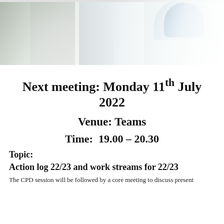[Figure (photo): Photo of people in white lab coats, one person wearing a blue glove, cropped at top of page]
Next meeting: Monday 11th July 2022
Venue: Teams
Time: 19.00 – 20.30
Topic:
Action log 22/23 and work streams for 22/23
The CPD session will be followed by a core meeting to discuss present